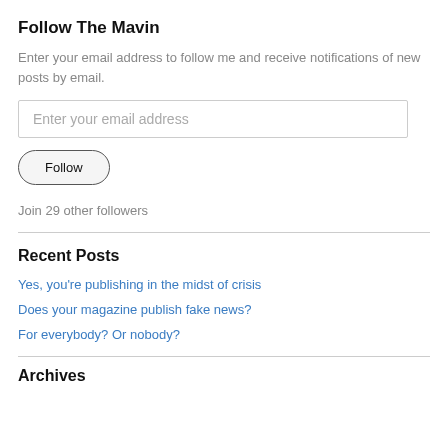Follow The Mavin
Enter your email address to follow me and receive notifications of new posts by email.
Enter your email address
Follow
Join 29 other followers
Recent Posts
Yes, you're publishing in the midst of crisis
Does your magazine publish fake news?
For everybody? Or nobody?
Archives